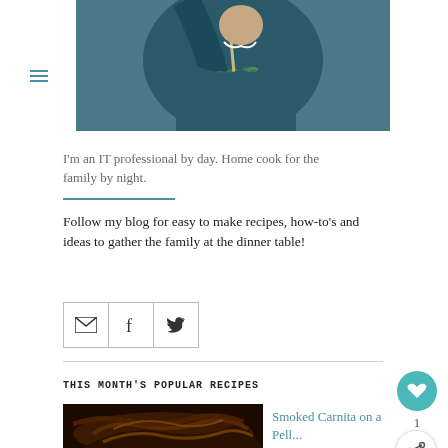[Figure (photo): Person cooking, pouring ingredients into a bowl with greens, wearing a dark teal shirt]
I'm an IT professional by day. Home cook for the family by night.
Follow my blog for easy to make recipes, how-to's and ideas to gather the family at the dinner table!
[Figure (infographic): Social media icons row: email envelope, Facebook f, Twitter bird]
THIS MONTH'S POPULAR RECIPES
[Figure (photo): Close-up of smoked carnitas in a pan, dark background]
Smoked Carnita on a Pell...